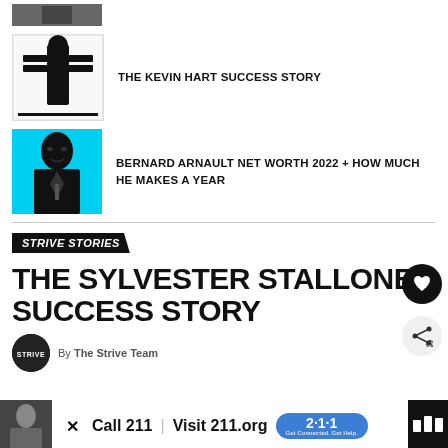[Figure (photo): Partial thumbnail at top, dark image of person in suit]
[Figure (photo): Kevin Hart Success Story book cover - black and white image with text overlay]
THE KEVIN HART SUCCESS STORY
[Figure (photo): Bernard Arnault portrait on cyan/teal background]
BERNARD ARNAULT NET WORTH 2022 + HOW MUCH HE MAKES A YEAR
STRIVE STORIES
THE SYLVESTER STALLONE SUCCESS STORY
By The Strive Team
[Figure (photo): Advertisement banner: Call 211 / Visit 211.org with 2-1-1 badge logo]